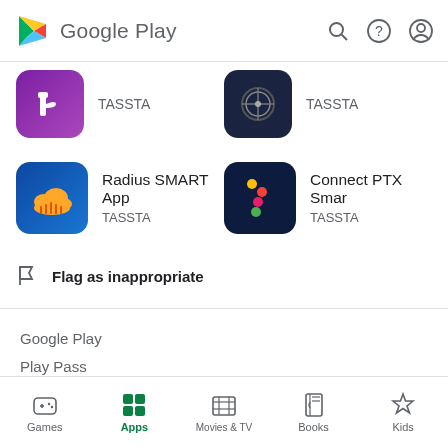[Figure (screenshot): Google Play header with logo, search icon, help icon, and account icon]
[Figure (screenshot): Two partially visible app entries both labeled TASSTA - purple app icon and dark circular icon]
[Figure (screenshot): Radius SMART App by TASSTA - blue cloud icon]
[Figure (screenshot): Connect PTX Smart by TASSTA - dark blue icon with colored dots]
Flag as inappropriate
Google Play
Play Pass
Play Points
Gift cards
[Figure (screenshot): Bottom navigation bar with Games, Apps (active, green), Movies & TV, Books, Kids]